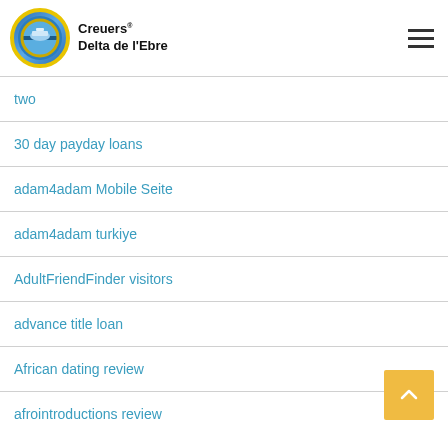Creuers Delta de l'Ebre
two
30 day payday loans
adam4adam Mobile Seite
adam4adam turkiye
AdultFriendFinder visitors
advance title loan
African dating review
afrointroductions review